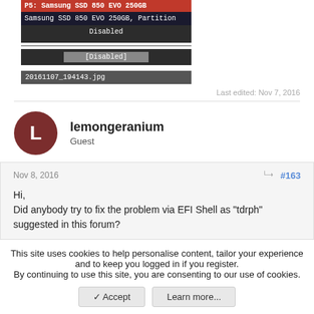[Figure (screenshot): BIOS/UEFI screenshot showing Samsung SSD 850 EVO 250GB listed as P5, with partition info and Disabled status shown. Filename: 20161107_194143.jpg]
Last edited: Nov 7, 2016
lemongeranium
Guest
Nov 8, 2016
#163
Hi,
Did anybody try to fix the problem via EFI Shell as "tdrph" suggested in this forum?
This site uses cookies to help personalise content, tailor your experience and to keep you logged in if you register.
By continuing to use this site, you are consenting to our use of cookies.
Accept
Learn more...